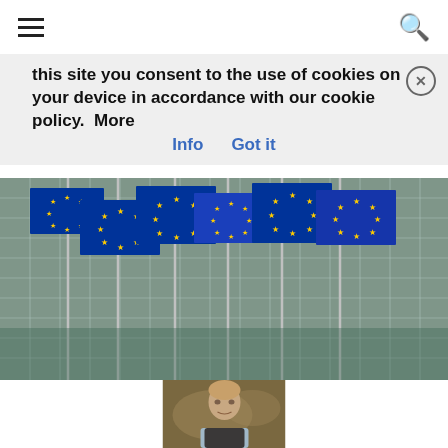[Hamburger menu icon] [Search icon]
this site you consent to the use of cookies on your device in accordance with our cookie policy.  More Info   Got it
[Figure (photo): Row of European Union flags on flagpoles in front of the Berlaymont building (EU Commission headquarters) in Brussels, showing a modern glass facade with a grid pattern]
[Figure (photo): Portrait photo of a young man with light hair, wearing a dark vest over a light blue shirt, posed in front of a background with a world map]